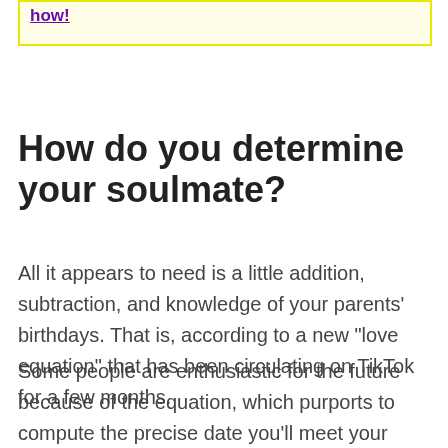how!
How do you determine your soulmate?
All it appears to need is a little addition, subtraction, and knowledge of your parents' birthdays. That is, according to a new “love equation” that has been circulating on TikTok for a few months.
Some people are enthusiastic for the future because of the equation, which purports to compute the precise date you'll meet your soulmate, while others are appropriately skeptical.